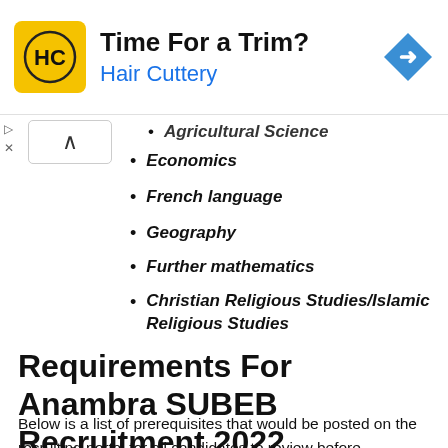[Figure (other): Hair Cuttery advertisement banner with yellow logo, 'Time For a Trim?' headline and blue 'Hair Cuttery' text, plus a blue diamond navigation arrow icon on the right]
Agricultural Science (partial, cut off at top)
Economics
French language
Geography
Further mathematics
Christian Religious Studies/Islamic Religious Studies
Requirements For Anambra SUBEB Recruitment 2022
Below is a list of prerequisites that would be posted on the recruiting portal for all candidates to review before